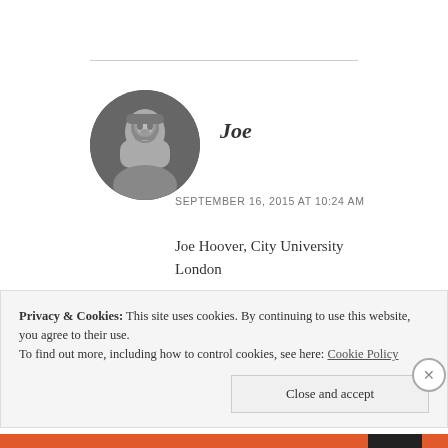[Figure (photo): Circular avatar photo of Joe, a man with dark hair and beard, in black and white]
Joe
SEPTEMBER 16, 2015 AT 10:24 AM
Joe Hoover, City University London
★ Like
Privacy & Cookies: This site uses cookies. By continuing to use this website, you agree to their use.
To find out more, including how to control cookies, see here: Cookie Policy
Close and accept